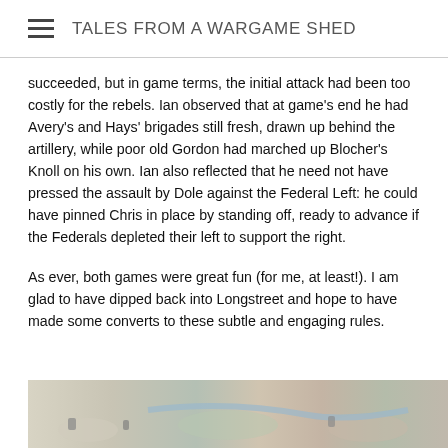TALES FROM A WARGAME SHED
succeeded, but in game terms, the initial attack had been too costly for the rebels. Ian observed that at game's end he had Avery's and Hays' brigades still fresh, drawn up behind the artillery, while poor old Gordon had marched up Blocher's Knoll on his own. Ian also reflected that he need not have pressed the assault by Dole against the Federal Left: he could have pinned Chris in place by standing off, ready to advance if the Federals depleted their left to support the right.
As ever, both games were great fun (for me, at least!). I am glad to have dipped back into Longstreet and hope to have made some converts to these subtle and engaging rules.
[Figure (photo): Partial view of a wargame table showing miniature figures on a terrain mat with various colored areas representing battlefield terrain.]